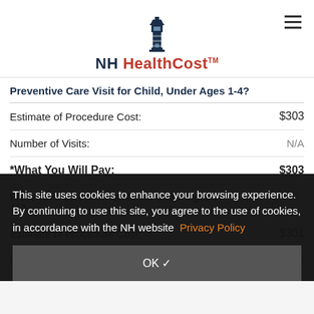NH HealthCost
Preventive Care Visit for Child, Under Ages 1-4?
|  |  |
| --- | --- |
| Estimate of Procedure Cost: | $303 |
| Number of Visits: | N/A |
| What You Will Pay: | $303 |
Preventive Care Visit for Child, Under Ages 5-11?
|  |  |
| --- | --- |
| Estimate of Procedure Cost: | $301 |
| Number of Visits: | N/A |
This site uses cookies to enhance your browsing experience. By continuing to use this site, you agree to the use of cookies, in accordance with the NH website Privacy Policy
OK ✓